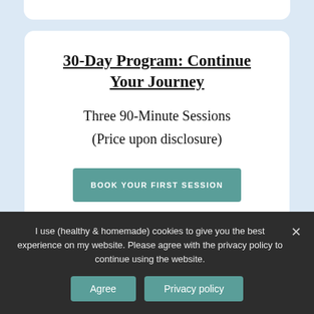30-Day Program: Continue Your Journey
Three 90-Minute Sessions
(Price upon disclosure)
BOOK YOUR FIRST SESSION
I use (healthy & homemade) cookies to give you the best experience on my website. Please agree with the privacy policy to continue using the website.
Agree
Privacy policy